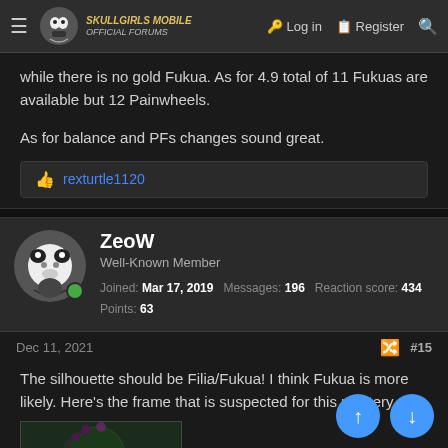Skullgirls Mobile Official Forums — Log in | Register
while there is no gold Fukua. As for 4.9 total of 11 Fukuas are available but 12 Painwheels.
As for balance and PFs changes sound great.
rexturtle1120
ZeoW
Well-Known Member
Joined: Mar 17, 2019 Messages: 196 Reaction score: 434 Points: 63
Dec 11, 2021 #15
The silhouette should be Filia/Fukua! I think Fukua is more likely. Here's the frame that is suspected for this mystery
[Figure (photo): Game character silhouette/image at the bottom of the post]